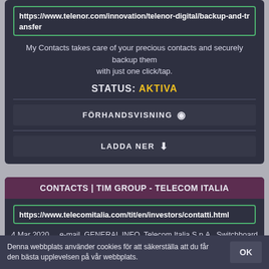https://www.telenor.com/innovation/telenor-digital/backup-and-transfer
My Contacts takes care of your precious contacts and securely backup them with just one click/tap.
STATUS: AKTIVA
FÖRHANDSVISNING
LADDA NER
CONTACTS | TIM GROUP - TELECOM ITALIA
https://www.telecomitalia.com/tit/en/investors/contatti.html
4 Mar 2020 ... e-mail. GENERAL INFO. Telecom Italia S.p.A.. Switchboard Ph: 39 06 3688 ... If you are an investor/analyst please email any member of the IR ...
Denna webbplats använder cookies för att säkerställa att du får den bästa upplevelsen på vår webbplats.